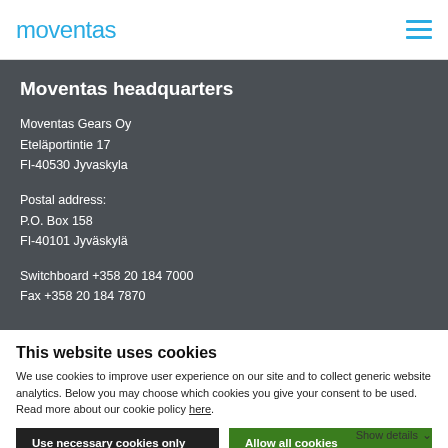moventas
Moventas headquarters
Moventas Gears Oy
Eteläportintie 17
FI-40530 Jyvaskyla
Postal address:
P.O. Box 158
FI-40101 Jyväskylä
Switchboard +358 20 184 7000
Fax +358 20 184 7870
This website uses cookies
We use cookies to improve user experience on our site and to collect generic website analytics. Below you may choose which cookies you give your consent to be used. Read more about our cookie policy here.
Use necessary cookies only
Allow all cookies
Show details